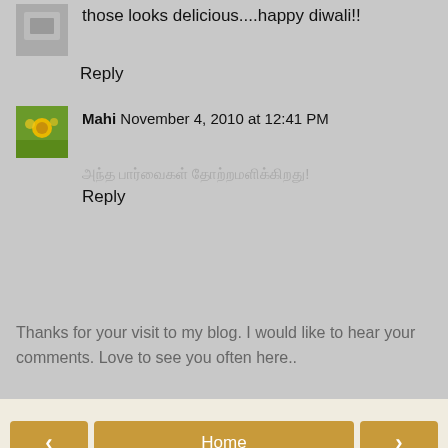those looks delicious....happy diwali!!
Reply
Mahi  November 4, 2010 at 12:41 PM
அந்த பார்வைகள் தோற்றமளிக்கிறது!
Reply
Thanks for your visit to my blog. I would like to hear your comments. Love to see you often here..
Home
View web version